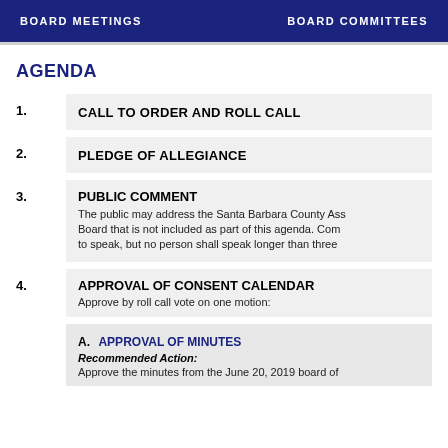BOARD MEETINGS   BOARD COMMITTEES
AGENDA
1. CALL TO ORDER AND ROLL CALL
2. PLEDGE OF ALLEGIANCE
3. PUBLIC COMMENT
The public may address the Santa Barbara County Ass... Board that is not included as part of this agenda. Com... to speak, but no person shall speak longer than three ...
4. APPROVAL OF CONSENT CALENDAR
Approve by roll call vote on one motion:
A. APPROVAL OF MINUTES
Recommended Action:
Approve the minutes from the June 20, 2019 board of